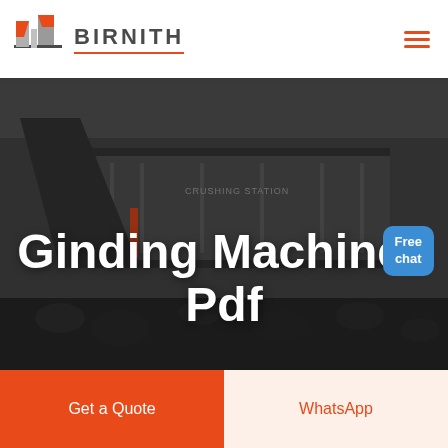[Figure (logo): Birnith company logo: orange and gray building/skyscraper icon with the text BIRNITH in bold gray letters with a red underline]
Ginding Machines Pdf
[Figure (photo): Background photo of a large industrial crushing station machine in a dark/gray tone with coal or gravel rocks in the foreground]
Free chat
Get a Quote
WhatsApp